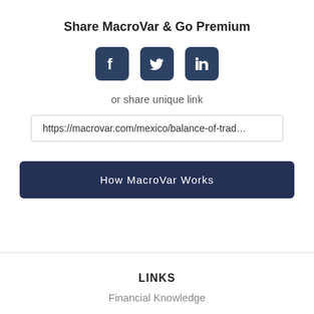Share MacroVar & Go Premium
[Figure (illustration): Three social media icons: Facebook, Twitter, LinkedIn — dark navy rounded square buttons]
or share unique link
https://macrovar.com/mexico/balance-of-trad…
How MacroVar Works
LINKS
Financial Knowledge